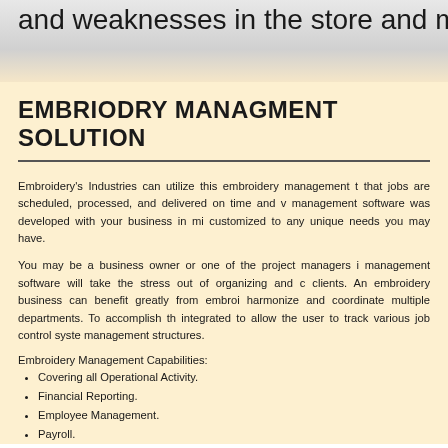and weaknesses in the store and much, muc
EMBRIODRY MANAGMENT SOLUTION
Embroidery's Industries can utilize this embroidery management t that jobs are scheduled, processed, and delivered on time and v management software was developed with your business in mi customized to any unique needs you may have.
You may be a business owner or one of the project managers i management software will take the stress out of organizing and c clients. An embroidery business can benefit greatly from embroi harmonize and coordinate multiple departments. To accomplish th integrated to allow the user to track various job control syste management structures.
Embroidery Management Capabilities:
Covering all Operational Activity.
Financial Reporting.
Employee Management.
Payroll.